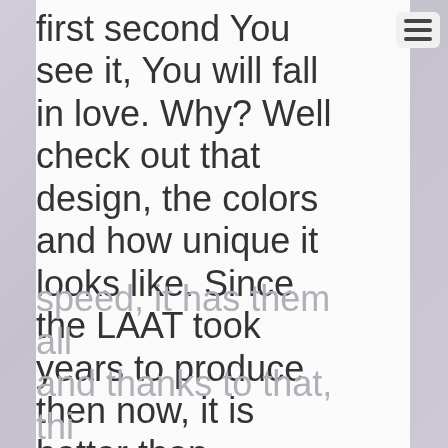first second You see it, You will fall in love. Why? Well check out that design, the colors and how unique it looks like. Since the LAAT took years to produce then now, it is better than anything else- stability, mass damage weapons, a scary beam and the
speed, it has them all and thanks to that, thi